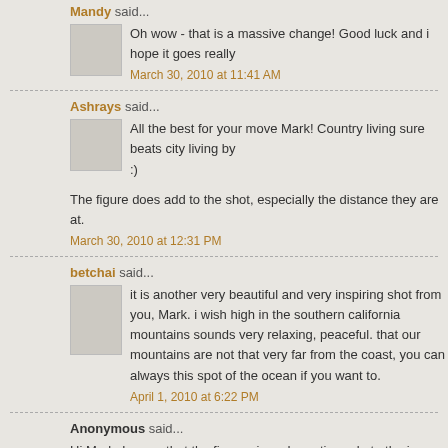Mandy said...
Oh wow - that is a massive change! Good luck and i hope it goes really
March 30, 2010 at 11:41 AM
Ashrays said...
All the best for your move Mark! Country living sure beats city living by :)
The figure does add to the shot, especially the distance they are at.
March 30, 2010 at 12:31 PM
betchai said...
it is another very beautiful and very inspiring shot from you, Mark. i wish high in the southern california mountains sounds very relaxing, peaceful. that our mountains are not that very far from the coast, you can always this spot of the ocean if you want to.
April 1, 2010 at 6:22 PM
Anonymous said...
Hi Mark. I agree that the figure gives dramatic scale to the image. It imp certain the viewer would appreciate without the frame of reference. Nice